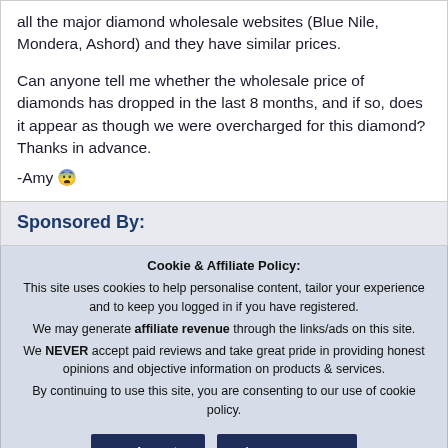all the major diamond wholesale websites (Blue Nile, Mondera, Ashord) and they have similar prices.
Can anyone tell me whether the wholesale price of diamonds has dropped in the last 8 months, and if so, does it appear as though we were overcharged for this diamond? Thanks in advance.
-Amy 😨
Sponsored By:
Cookie & Affiliate Policy:
This site uses cookies to help personalise content, tailor your experience and to keep you logged in if you have registered.
We may generate affiliate revenue through the links/ads on this site.
We NEVER accept paid reviews and take great pride in providing honest opinions and objective information on products & services.
By continuing to use this site, you are consenting to our use of cookie policy.